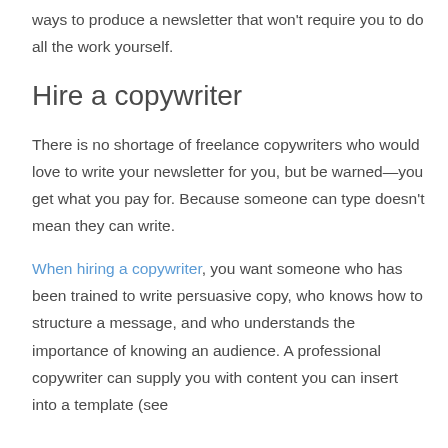ways to produce a newsletter that won't require you to do all the work yourself.
Hire a copywriter
There is no shortage of freelance copywriters who would love to write your newsletter for you, but be warned—you get what you pay for. Because someone can type doesn't mean they can write.
When hiring a copywriter, you want someone who has been trained to write persuasive copy, who knows how to structure a message, and who understands the importance of knowing an audience. A professional copywriter can supply you with content you can insert into a template (see